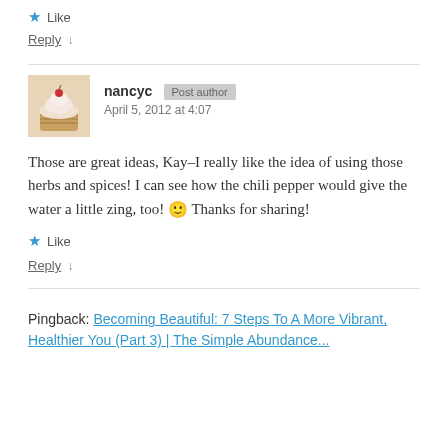★ Like
Reply ↓
nancyc [Post author] April 5, 2012 at 4:07
Those are great ideas, Kay–I really like the idea of using those herbs and spices! I can see how the chili pepper would give the water a little zing, too! 🙂 Thanks for sharing!
★ Like
Reply ↓
Pingback: Becoming Beautiful: 7 Steps To A More Vibrant, Healthier You (Part 3) | The Simple Abundance...